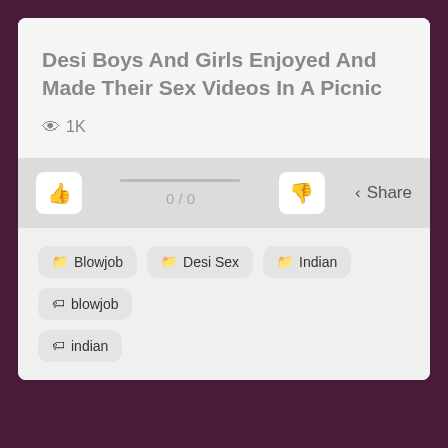Desi Boys And Girls Enjoyed And Made Their Sex Videos In A Picnic
👁 1K
0 / 0  Share
🗁 Blowjob
🗁 Desi Sex
🗁 Indian
🏷 blowjob
🏷 indian
A Group Of Desi Boys And Girls Enjoyed And Made Their Sex Videos In A Picnic.